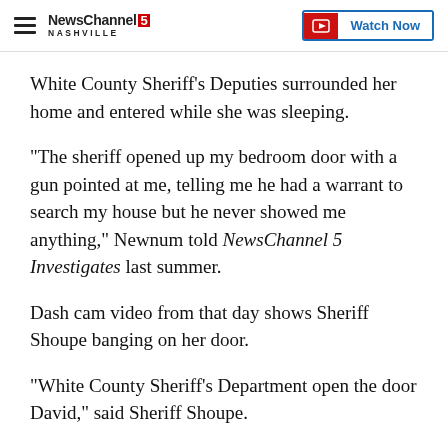NewsChannel 5 NASHVILLE | Watch Now
White County Sheriff's Deputies surrounded her home and entered while she was sleeping.
"The sheriff opened up my bedroom door with a gun pointed at me, telling me he had a warrant to search my house but he never showed me anything," Newnum told NewsChannel 5 Investigates last summer.
Dash cam video from that day shows Sheriff Shoupe banging on her door.
"White County Sheriff's Department open the door David," said Sheriff Shoupe.